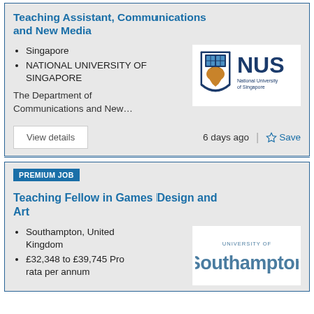Teaching Assistant, Communications and New Media
Singapore
NATIONAL UNIVERSITY OF SINGAPORE
The Department of Communications and New...
[Figure (logo): NUS National University of Singapore logo]
View details
6 days ago
Save
PREMIUM JOB
Teaching Fellow in Games Design and Art
Southampton, United Kingdom
£32,348 to £39,745 Pro rata per annum
[Figure (logo): University of Southampton logo]